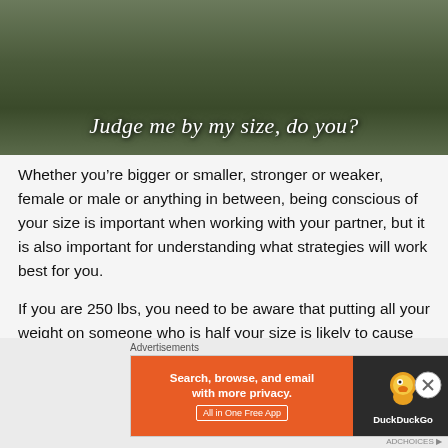[Figure (photo): Person sitting on ground outdoors with text overlay reading 'Judge me by my size, do you?']
Whether you’re bigger or smaller, stronger or weaker, female or male or anything in between, being conscious of your size is important when working with your partner, but it is also important for understanding what strategies will work best for you.
If you are 250 lbs, you need to be aware that putting all your weight on someone who is half your size is likely to cause your partner injury or at the very least a level of discomfort that is not conducive to an enjoyable training
Advertisements
[Figure (screenshot): DuckDuckGo advertisement banner: 'Search, browse, and email with more privacy. All in One Free App' on orange background with DuckDuckGo logo on dark background]